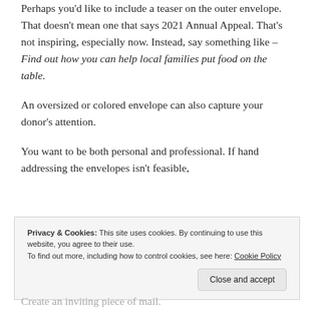Perhaps you'd like to include a teaser on the outer envelope. That doesn't mean one that says 2021 Annual Appeal. That's not inspiring, especially now. Instead, say something like – Find out how you can help local families put food on the table.
An oversized or colored envelope can also capture your donor's attention.
You want to be both personal and professional. If hand addressing the envelopes isn't feasible,
Privacy & Cookies: This site uses cookies. By continuing to use this website, you agree to their use. To find out more, including how to control cookies, see here: Cookie Policy
Close and accept
Create an inviting piece of mail.